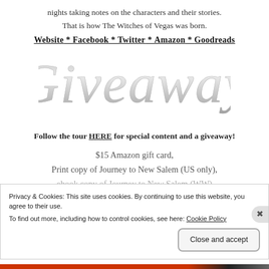nights taking notes on the characters and their stories. That is how The Witches of Vegas was born.
Website * Facebook * Twitter * Amazon * Goodreads
[Figure (illustration): Decorative script text reading 'Giveaway' in a silver/gray ornate calligraphy font]
Follow the tour HERE for special content and a giveaway!
$15 Amazon gift card, Print copy of Journey to New Salem (US only), ebook copy of Journey to New Salem (WW)
Privacy & Cookies: This site uses cookies. By continuing to use this website, you agree to their use. To find out more, including how to control cookies, see here: Cookie Policy
Close and accept